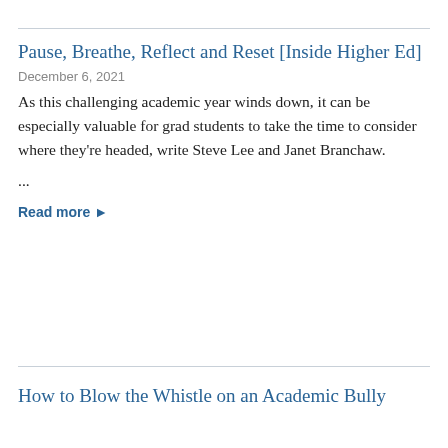Pause, Breathe, Reflect and Reset [Inside Higher Ed]
December 6, 2021
As this challenging academic year winds down, it can be especially valuable for grad students to take the time to consider where they're headed, write Steve Lee and Janet Branchaw.
...
Read more ▶
How to Blow the Whistle on an Academic Bully